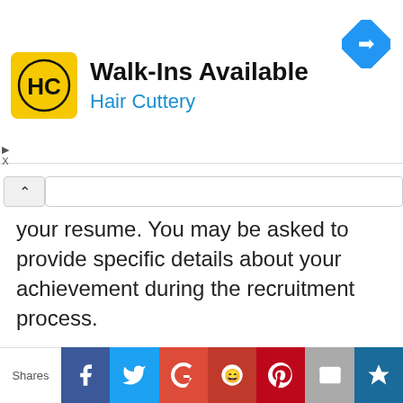[Figure (other): Hair Cuttery advertisement banner with logo (yellow square with HC letters), text 'Walk-Ins Available' and 'Hair Cuttery', and a blue navigation arrow icon on the right]
your resume. You may be asked to provide specific details about your achievement during the recruitment process.
In addition, you may ask your references or former employers to verify the information listed.
If that information is false or excessive, then you can hit your chances with
[Figure (other): Social media share bar with buttons for Facebook, Twitter, Google+, Reddit, Pinterest, Email, and a crown/bookmark icon. 'Shares' label on the left.]